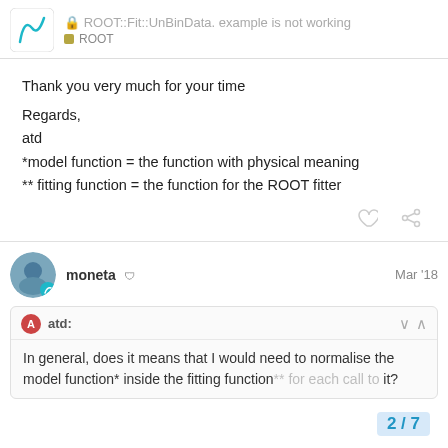ROOT::Fit::UnBinData. example is not working — ROOT
Thank you very much for your time

Regards,
atd
*model function = the function with physical meaning
** fitting function = the function for the ROOT fitter
moneta  Mar '18
atd:
In general, does it means that I would need to normalise the model function* inside the fitting function** for each call to it?
2 / 7